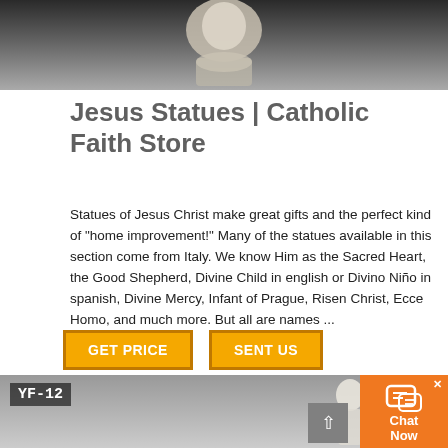[Figure (photo): Top of page: photo of a Jesus statue, partially visible at top of page, dark background]
Jesus Statues | Catholic Faith Store
Statues of Jesus Christ make great gifts and the perfect kind of “home improvement!” Many of the statues available in this section come from Italy. We know Him as the Sacred Heart, the Good Shepherd, Divine Child in english or Divino Nińo in spanish, Divine Mercy, Infant of Prague, Risen Christ, Ecce Homo, and much more. But all are names ...
[Figure (screenshot): GET PRICE and SENT US buttons in orange/yellow]
[Figure (photo): Bottom photo: white statue figure (likely Jesus or Mary) with label YF-12 in top-left corner, chat widget in bottom-right]